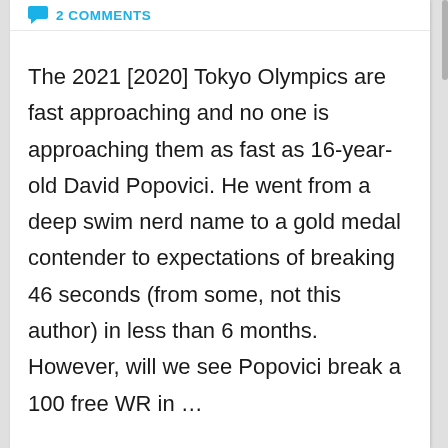2 COMMENTS
The 2021 [2020] Tokyo Olympics are fast approaching and no one is approaching them as fast as 16-year-old David Popovici. He went from a deep swim nerd name to a gold medal contender to expectations of breaking 46 seconds (from some, not this author) in less than 6 months. However, will we see Popovici break a 100 free WR in …
Read More